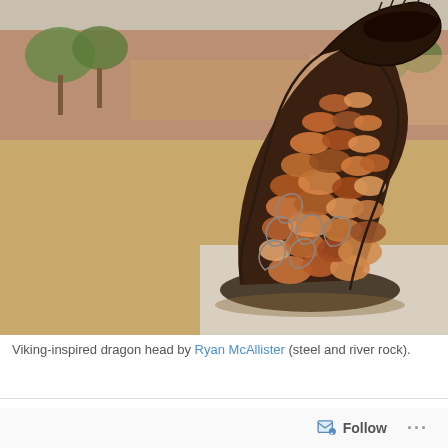[Figure (photo): Outdoor photograph of a Viking-inspired dragon head sculpture made from steel wire framework filled with river rocks in earthy brown, orange, and cream tones. The sculpture sits on a concrete pad with sandy ground and trees/brick wall in the background.]
Viking-inspired dragon head by Ryan McAllister (steel and river rock).
Follow ...